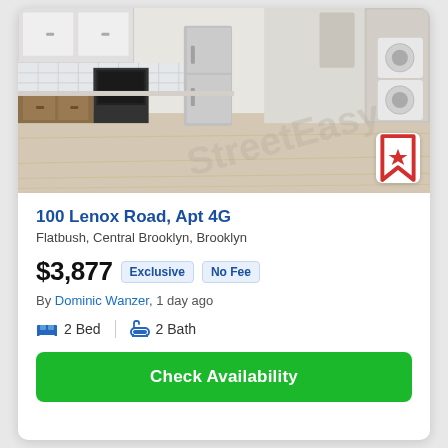[Figure (photo): Interior photo of a modern apartment kitchen with white cabinets, wood lower cabinets, stainless steel refrigerator, hardwood floors, and stacked washer/dryer visible in the background]
100 Lenox Road, Apt 4G
Flatbush, Central Brooklyn, Brooklyn
$3,877  Exclusive  No Fee
By Dominic Wanzer, 1 day ago
2 Bed  |  2 Bath
Check Availability